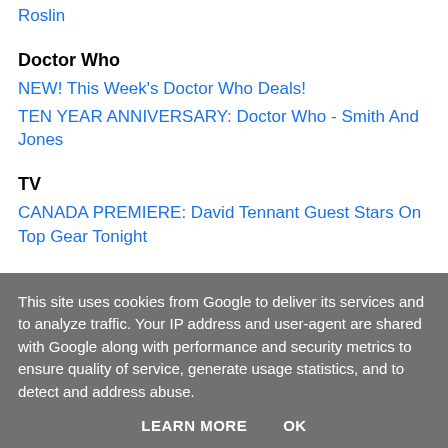Roslin
Doctor Who
NEW! This Week's Doctor Who Deals!
TEN YEAR ANNIVERSARY: Doctor Who - Smith And Jones
TV
CANADA PREMIERE: David Tennant Guest Stars On Top Gear Tonight
Miscellaneous
THROWBACK THURSDAY: Getting to know you: Will Self and
This site uses cookies from Google to deliver its services and to analyze traffic. Your IP address and user-agent are shared with Google along with performance and security metrics to ensure quality of service, generate usage statistics, and to detect and address abuse.
LEARN MORE   OK